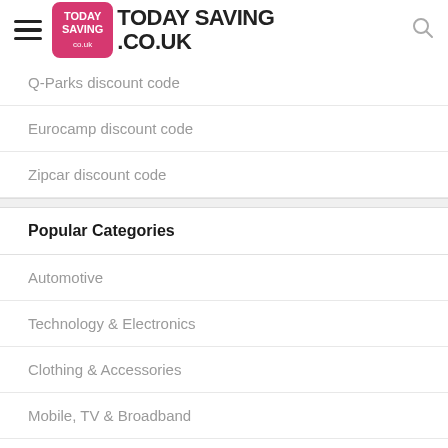[Figure (logo): Today Saving .co.uk logo with pink badge and bold text]
Q-Parks discount code
Eurocamp discount code
Zipcar discount code
Popular Categories
Automotive
Technology & Electronics
Clothing & Accessories
Mobile, TV & Broadband
Travel
Sports & Outdoors
Online Services